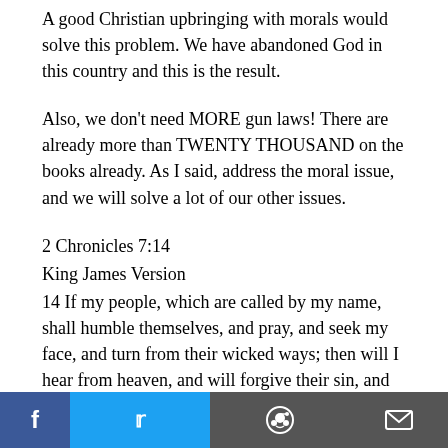A good Christian upbringing with morals would solve this problem. We have abandoned God in this country and this is the result.
Also, we don't need MORE gun laws! There are already more than TWENTY THOUSAND on the books already. As I said, address the moral issue, and we will solve a lot of our other issues.
2 Chronicles 7:14
King James Version
14 If my people, which are called by my name, shall humble themselves, and pray, and seek my face, and turn from their wicked ways; then will I hear from heaven, and will forgive their sin, and will
[Figure (other): Social media share bar at the bottom with Facebook (blue), Twitter (light blue), Reddit (gray), and email (gray) buttons with icons]